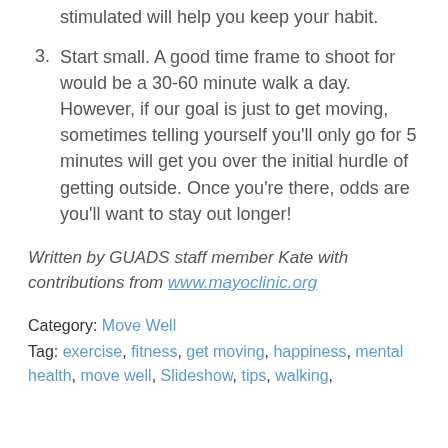stimulated will help you keep your habit.
3. Start small. A good time frame to shoot for would be a 30-60 minute walk a day. However, if our goal is just to get moving, sometimes telling yourself you'll only go for 5 minutes will get you over the initial hurdle of getting outside. Once you're there, odds are you'll want to stay out longer!
Written by GUADS staff member Kate with contributions from www.mayoclinic.org
Category: Move Well
Tag: exercise, fitness, get moving, happiness, mental health, move well, Slideshow, tips, walking,